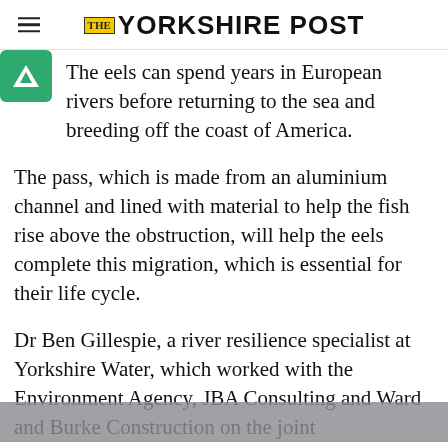THE YORKSHIRE POST
The eels can spend years in European rivers before returning to the sea and breeding off the coast of America.
The pass, which is made from an aluminium channel and lined with material to help the fish rise above the obstruction, will help the eels complete this migration, which is essential for their life cycle.
Dr Ben Gillespie, a river resilience specialist at Yorkshire Water, which worked with the Environment Agency, JBA Consulting and Ward and Burke Construction on the joint